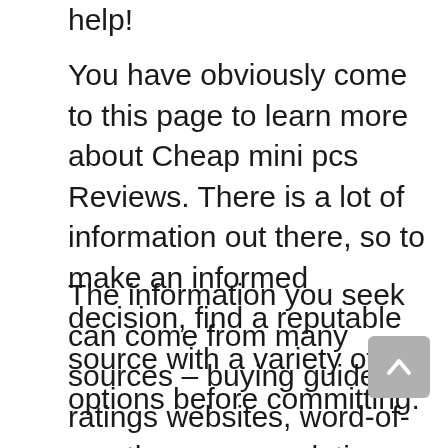help!
You have obviously come to this page to learn more about Cheap mini pcs Reviews. There is a lot of information out there, so to make an informed decision, find a reputable source with a variety of options before committing.
The information you seek can come from many sources – buying guides, ratings websites, word-of-mouth recommendations, online forums where users give their personal experiences, independent product reviews found throughout the internet, and even YouTube channels. The best products can only be